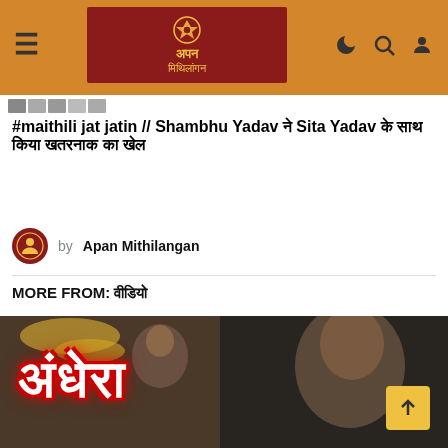Apan Mithilangan website header with logo
#maithili jat jatin // Shambhu Yadav ने Sita Yadav के साथ किया खतरनाक का खेल
by Apan Mithilangan
MORE FROM: वीडियो
[Figure (photo): Movie thumbnail showing people and Hindi text अंधेरा in red flames style]